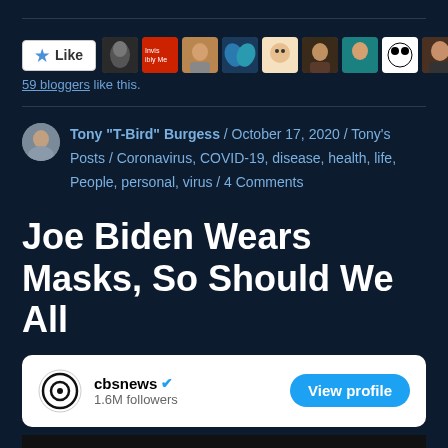[Figure (other): Like button and avatar strip showing 59 bloggers like this]
59 bloggers like this.
Tony "T-Bird" Burgess / October 17, 2020 / Tony's Posts / Coronavirus, COVID-19, disease, health, life, People, personal, virus / 4 Comments
Joe Biden Wears Masks, So Should We All
[Figure (screenshot): CBS News Instagram embed card with cbsnews handle, 1.6M followers, and View profile button]